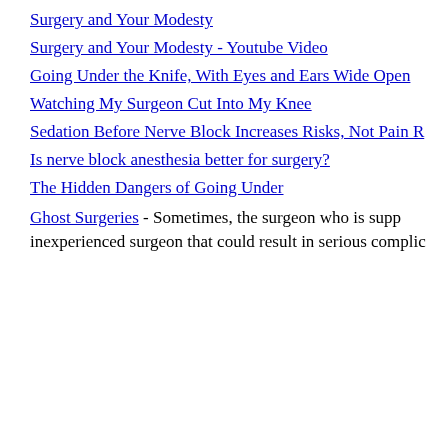Surgery and Your Modesty
Surgery and Your Modesty - Youtube Video
Going Under the Knife, With Eyes and Ears Wide Open
Watching My Surgeon Cut Into My Knee
Sedation Before Nerve Block Increases Risks, Not Pain R…
Is nerve block anesthesia better for surgery?
The Hidden Dangers of Going Under
Ghost Surgeries - Sometimes, the surgeon who is supp… inexperienced surgeon that could result in serious complic…